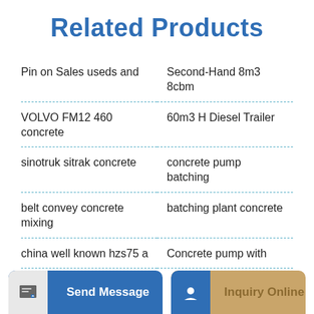Related Products
Pin on Sales useds and
Second-Hand 8m3 8cbm
VOLVO FM12 460 concrete
60m3 H Diesel Trailer
sinotruk sitrak concrete
concrete pump batching
belt convey concrete mixing
batching plant concrete
china well known hzs75 a
Concrete pump with
Send Message
Inquiry Online